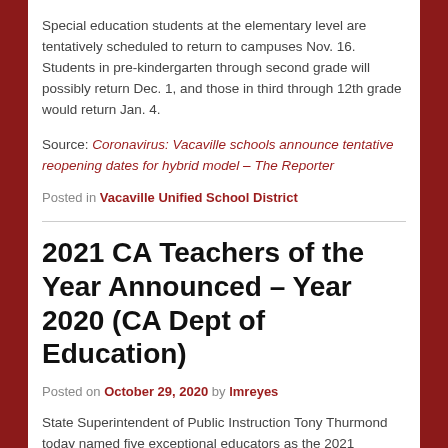Special education students at the elementary level are tentatively scheduled to return to campuses Nov. 16. Students in pre-kindergarten through second grade will possibly return Dec. 1, and those in third through 12th grade would return Jan. 4.
Source: Coronavirus: Vacaville schools announce tentative reopening dates for hybrid model – The Reporter
Posted in Vacaville Unified School District
2021 CA Teachers of the Year Announced – Year 2020 (CA Dept of Education)
Posted on October 29, 2020 by lmreyes
State Superintendent of Public Instruction Tony Thurmond today named five exceptional educators as the 2021